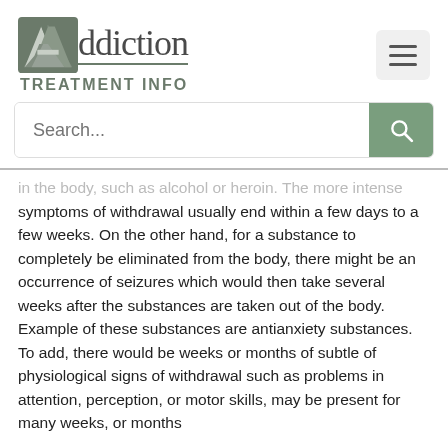[Figure (logo): Addiction Treatment Info website logo with stylized A icon and text]
in the body, such as alcohol or heroin. The more intense symptoms of withdrawal usually end within a few days to a few weeks. On the other hand, for a substance to completely be eliminated from the body, there might be an occurrence of seizures which would then take several weeks after the substances are taken out of the body. Example of these substances are antianxiety substances. To add, there would be weeks or months of subtle of physiological signs of withdrawal such as problems in attention, perception, or motor skills, may be present for many weeks, or months